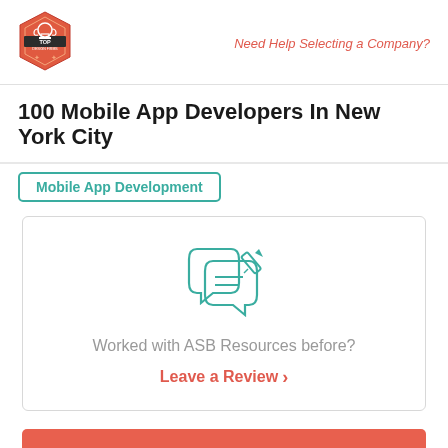[Figure (logo): Top Design Firms logo — red hexagon badge with trophy icon and 'TOP DESIGN FIRMS' text]
Need Help Selecting a Company?
100 Mobile App Developers In New York City
Mobile App Development
[Figure (illustration): Two overlapping speech bubbles with pencil/edit icon, teal outline style]
Worked with ASB Resources before?
Leave a Review  ›
Visit Site